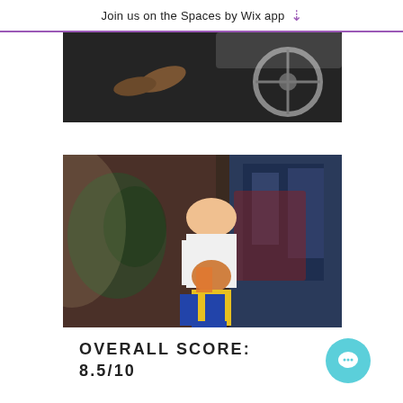Join us on the Spaces by Wix app ↓
[Figure (photo): Top-down view of action figure boots and a motorcycle wheel on a dark surface]
[Figure (photo): Two action figures in a fighting pose against a graffiti-covered brick wall background. One figure in a white t-shirt holds another figure in a yellow and blue costume (resembling Wolverine).]
OVERALL SCORE:
8.5/10